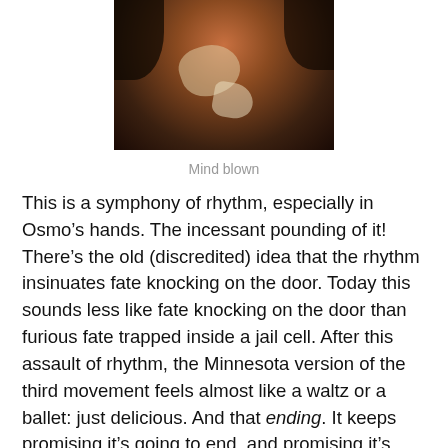[Figure (photo): A dark, grainy photo of a person, seemingly a conductor or performer, with warm orange and brown tones and highlighted areas suggesting stage lighting.]
Mind blown
This is a symphony of rhythm, especially in Osmo’s hands. The incessant pounding of it! There’s the old (discredited) idea that the rhythm insinuates fate knocking on the door. Today this sounds less like fate knocking on the door than furious fate trapped inside a jail cell. After this assault of rhythm, the Minnesota version of the third movement feels almost like a waltz or a ballet: just delicious. And that ending. It keeps promising it’s going to end, and promising it’s going to end, and promising it’s going to end, and promising it’s going to end, and promising it’s going to end,